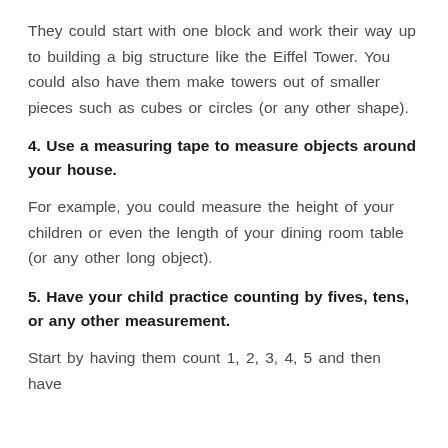They could start with one block and work their way up to building a big structure like the Eiffel Tower. You could also have them make towers out of smaller pieces such as cubes or circles (or any other shape).
4. Use a measuring tape to measure objects around your house.
For example, you could measure the height of your children or even the length of your dining room table (or any other long object).
5. Have your child practice counting by fives, tens, or any other measurement.
Start by having them count 1, 2, 3, 4, 5 and then have